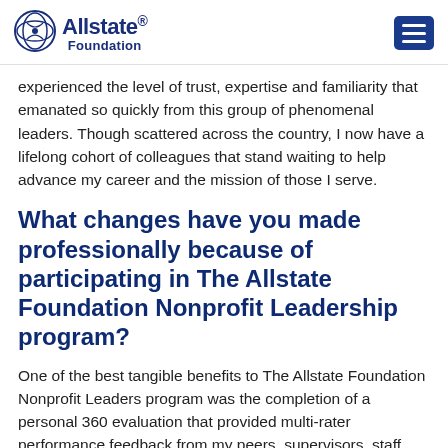Allstate Foundation
experienced the level of trust, expertise and familiarity that emanated so quickly from this group of phenomenal leaders. Though scattered across the country, I now have a lifelong cohort of colleagues that stand waiting to help advance my career and the mission of those I serve.
What changes have you made professionally because of participating in The Allstate Foundation Nonprofit Leadership program?
One of the best tangible benefits to The Allstate Foundation Nonprofit Leaders program was the completion of a personal 360 evaluation that provided multi-rater performance feedback from my peers, supervisors, staff, coworkers and